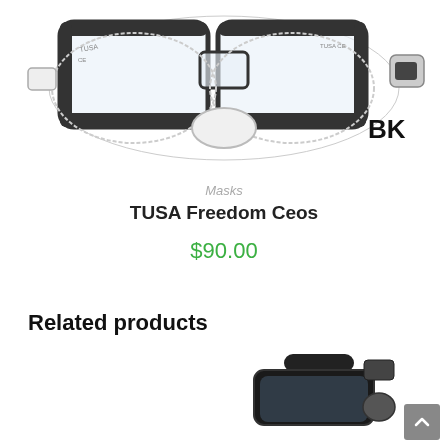[Figure (photo): TUSA Freedom Ceos diving mask in clear/black colorway, front view showing the mask face with black frame and clear silicone skirt. 'BK' color label appears at bottom right.]
Masks
TUSA Freedom Ceos
$90.00
Related products
[Figure (photo): Partial view of a related diving mask, black colorway, shown from an angle at the bottom of the page.]